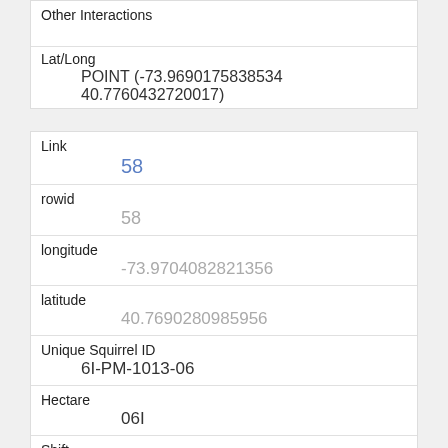| Other Interactions |  |
| Lat/Long | POINT (-73.9690175838534 40.7760432720017) |
| Link | 58 |
| rowid | 58 |
| longitude | -73.9704082821356 |
| latitude | 40.7690280985956 |
| Unique Squirrel ID | 6I-PM-1013-06 |
| Hectare | 06I |
| Shift | PM |
| Date |  |